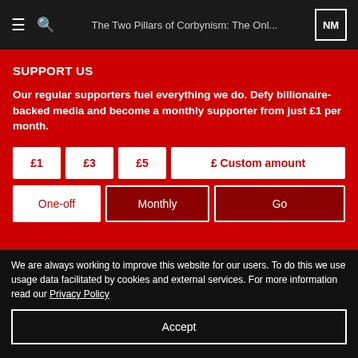The Two Pillars of Corbynism: The Onl...
SUPPORT US
Our regular supporters fuel everything we do. Defy billionaire-backed media and become a monthly supporter from just £1 per month.
£1
£3
£5
£ Custom amount
One-off
Monthly
Go
NM
PODCASTS
ABOUT
NOVARAFM
We are always working to improve this website for our users. To do this we use usage data facilitated by cookies and external services. For more information read our Privacy Policy
Accept